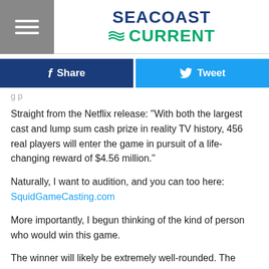SEACOAST CURRENT
[Figure (infographic): Social sharing bar with Facebook Share button (dark blue) and Tweet button (light blue)]
Straight from the Netflix release: "With both the largest cast and lump sum cash prize in reality TV history, 456 real players will enter the game in pursuit of a life-changing reward of $4.56 million."
Naturally, I want to audition, and you can too here: SquidGameCasting.com
More importantly, I begun thinking of the kind of person who would win this game.
The winner will likely be extremely well-rounded. The games are a combination of luck and strategy, the activities that they...